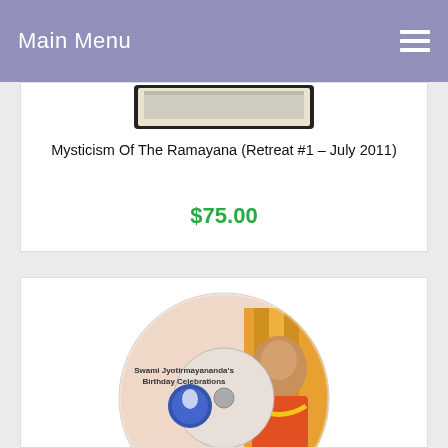Main Menu
[Figure (photo): Partial view of a tablet device showing a book cover or media content]
Mysticism Of The Ramayana (Retreat #1 – July 2011)
$75.00
[Figure (photo): CD disc with label reading Swami Jyotirmayananda's Birthday Celebrations, featuring a photo of Swami Jyotirmayananda in traditional attire and a logo]